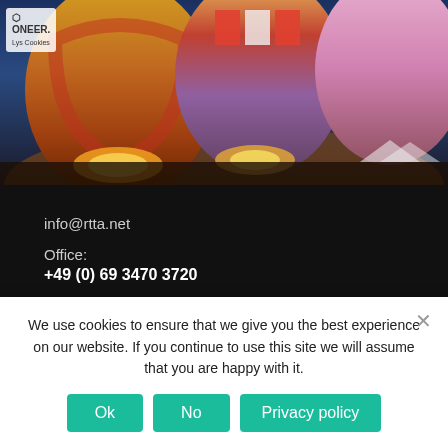[Figure (photo): Colorful hot air balloons glowing at night against a dark blue sky, with orange and yellow light from burners illuminating the balloons from below. A partial logo/text visible in top left corner reading 'ONEER' and small text below.]
info@rtta.net
Office:
+49 (0) 69 3470 3720
Mobile:
+49 (0) 177 335 6743
We use cookies to ensure that we give you the best experience on our website. If you continue to use this site we will assume that you are happy with it.